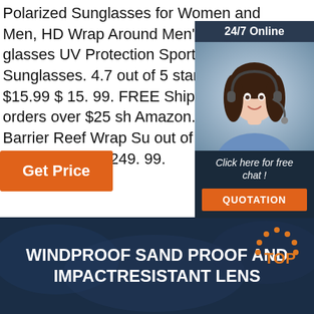Polarized Sunglasses for Women and Men, HD Wrap Around Men's Sun glasses UV Protection Sports Baseball Sunglasses. 4.7 out of 5 stars 18. $15.99 $ 15. 99. FREE Shipping on orders over $25 shipped by Amazon. Maui Jim. Barrier Reef Wrap Su nglasses. 4.7 out of 5 stars 225. $249.99 $ 249. 99.
[Figure (other): Customer service chat widget with '24/7 Online' header, photo of a smiling woman with headset, tagline 'Click here for free chat!', and an orange QUOTATION button]
Get Price
[Figure (infographic): Dark blue banner with bold white uppercase text reading 'WINDPROOF SAND PROOF AND IMPACTRESISTANT LENS' with a decorative 'TOP' logo graphic in orange on the right side]